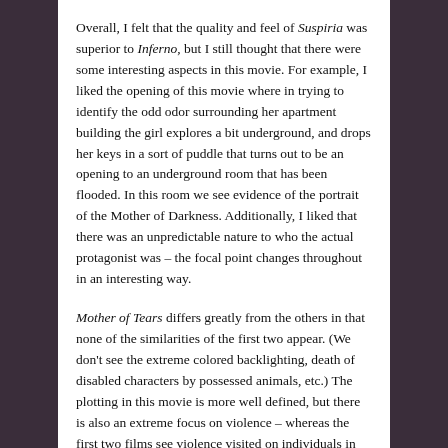Overall, I felt that the quality and feel of Suspiria was superior to Inferno, but I still thought that there were some interesting aspects in this movie. For example, I liked the opening of this movie where in trying to identify the odd odor surrounding her apartment building the girl explores a bit underground, and drops her keys in a sort of puddle that turns out to be an opening to an underground room that has been flooded. In this room we see evidence of the portrait of the Mother of Darkness. Additionally, I liked that there was an unpredictable nature to who the actual protagonist was – the focal point changes throughout in an interesting way.
Mother of Tears differs greatly from the others in that none of the similarities of the first two appear. (We don't see the extreme colored backlighting, death of disabled characters by possessed animals, etc.) The plotting in this movie is more well defined, but there is also an extreme focus on violence – whereas the first two films see violence visited on individuals in